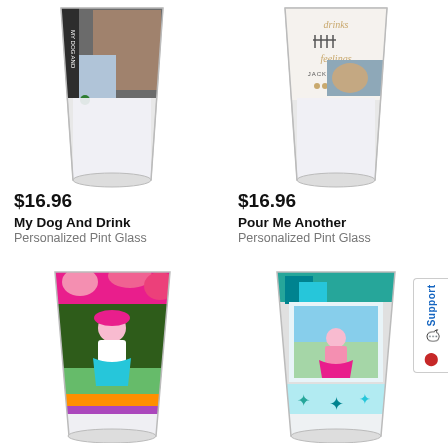[Figure (photo): Personalized pint glass with dog photo and text 'My Dog And Drink']
$16.96
My Dog And Drink
Personalized Pint Glass
[Figure (photo): Personalized pint glass with text 'drinks feelings JACK & JACKIE' and dog photo]
$16.96
Pour Me Another
Personalized Pint Glass
[Figure (photo): Personalized pint glass with photo of child in pink hat in garden]
[Figure (photo): Personalized pint glass with photo of child in meadow, teal/starfish design]